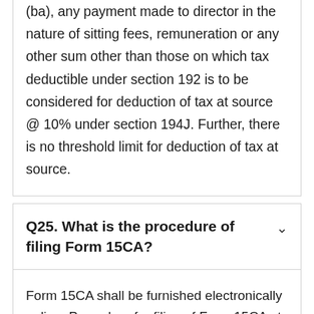(ba), any payment made to director in the nature of sitting fees, remuneration or any other sum other than those on which tax deductible under section 192 is to be considered for deduction of tax at source @ 10% under section 194J. Further, there is no threshold limit for deduction of tax at source.
Q25. What is the procedure of filing Form 15CA?
Form 15CA shall be furnished electronically online. Procedure for filing of Form 15CA at e-filing portal is given below-
Step 1 – Log on to " E-filing ' portal at